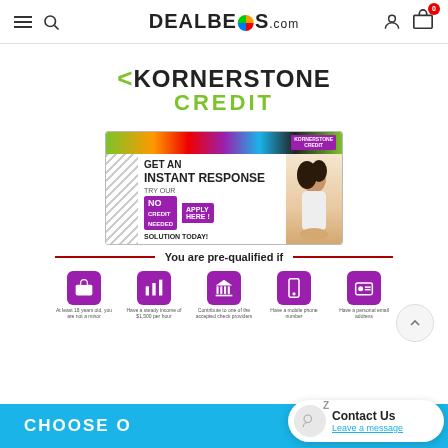DEALBEOS.com
[Figure (logo): KORNERSTONE CREDIT logo with green chevron arrow and green CREDIT text]
[Figure (illustration): Kornerstone Credit advertisement banner: GET AN INSTANT RESPONSE - TRY OUR NO CREDIT NEEDED - APPLY HERE! SOLUTION TODAY! with woman on phone image]
You are pre-qualified if
[Figure (infographic): Five purple icon boxes representing pre-qualification criteria with small label text below each icon]
CHOOSE O...
Contact Us
Leave a message